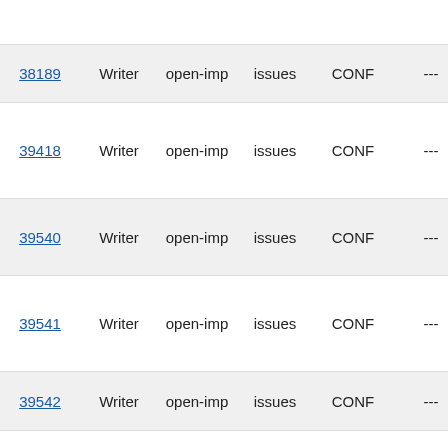| ID | Component | Type | Category | Priority | Votes | Description |
| --- | --- | --- | --- | --- | --- | --- |
|  |  |  |  |  |  | breaks c... in Write... |
| 38189 | Writer | open-imp | issues | CONF | --- | Grouped... too large... |
| 39418 | Writer | open-imp | issues | CONF | --- | Writer in... importin... captions... numberi... |
| 39540 | Writer | open-imp | issues | CONF | --- | image n... position... rtf impo... |
| 39541 | Writer | open-imp | issues | CONF | --- | RTF: em... image lo... object; n... impleme... |
| 39542 | Writer | open-imp | issues | CONF | --- | RTF: bu... too muc... |
| 39581 | Writer | open-imp | issues | CONF | --- | WW8: N... table los... |
| 39597 | Writer | open-imp | issues | CONF | --- | Sections... docume... imported... |
| 39710 | Writer | open-imp | issues | CONF | --- | Missing ... imported... docume... |